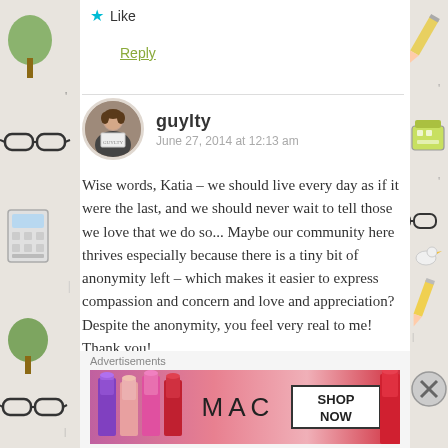Like
Reply
guylty  June 27, 2014 at 12:13 am
Wise words, Katia – we should live every day as if it were the last, and we should never wait to tell those we love that we do so... Maybe our community here thrives especially because there is a tiny bit of anonymity left – which makes it easier to express compassion and concern and love and appreciation? Despite the anonymity, you feel very real to me! Thank you!
Advertisements